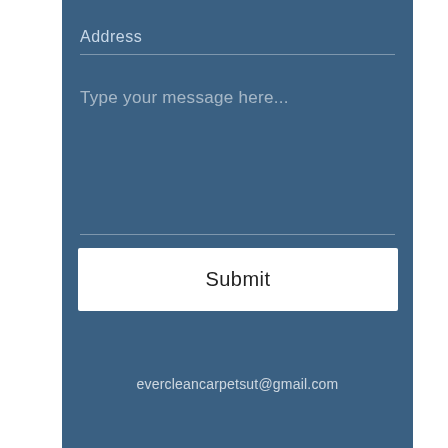Address
Type your message here...
Submit
evercleancarpetsut@gmail.com